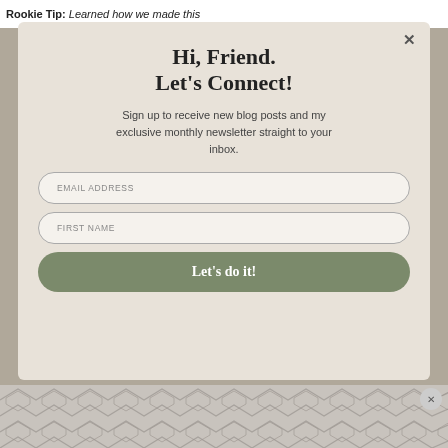Rookie Tip: Learned how we made this
Hi, Friend.
Let's Connect!
Sign up to receive new blog posts and my exclusive monthly newsletter straight to your inbox.
EMAIL ADDRESS
FIRST NAME
Let's do it!
[Figure (other): Geometric hexagon/chevron pattern in grey tones at bottom of page]